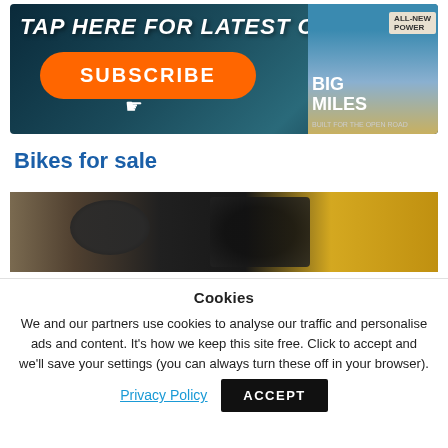[Figure (illustration): MoreBikes magazine subscription banner ad with dark teal background, orange SUBSCRIBE button, motorcycle imagery, and magazine cover showing BIG MILES text]
Bikes for sale
[Figure (photo): Partial photo of motorcycle handlebars and seat area against wooden background, partially obscured by cookie consent overlay]
Cookies
We and our partners use cookies to analyse our traffic and personalise ads and content. It's how we keep this site free. Click to accept and we'll save your settings (you can always turn these off in your browser).
Privacy Policy   ACCEPT